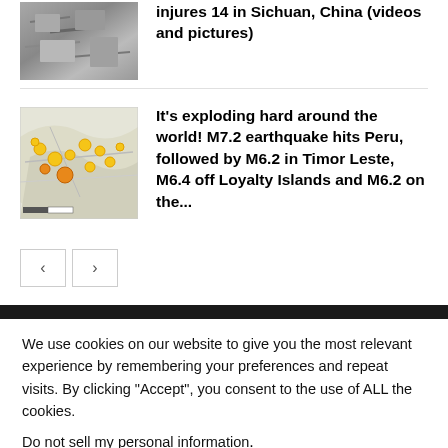[Figure (photo): Thumbnail of rubble/earthquake damage scene, black and white/grey tones]
injures 14 in Sichuan, China (videos and pictures)
[Figure (map): Thumbnail map showing earthquake epicenters marked with yellow/orange dots across a region]
It's exploding hard around the world! M7.2 earthquake hits Peru, followed by M6.2 in Timor Leste, M6.4 off Loyalty Islands and M6.2 on the...
< >
We use cookies on our website to give you the most relevant experience by remembering your preferences and repeat visits. By clicking “Accept”, you consent to the use of ALL the cookies.
Do not sell my personal information.
Settings   Accept